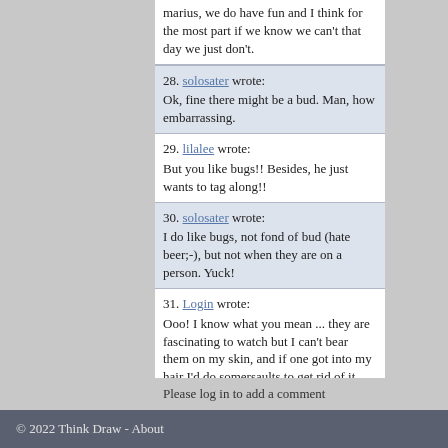marius, we do have fun and I think for the most part if we know we can't that day we just don't.
28. solosater wrote: Ok, fine there might be a bud. Man, how embarrassing.
29. lilalee wrote: But you like bugs!! Besides, he just wants to tag along!!
30. solosater wrote: I do like bugs, not fond of bud (hate beer;-), but not when they are on a person. Yuck!
31. Login wrote: Ooo! I know what you mean ... they are fascinating to watch but I can't bear them on my skin, and if one got into my hair I'd do somersaults to get rid of it.
32. Login wrote: The lady looks fabulous ... and if I could quietly and gently remove that bug from her hair, without freaking her out, I would. The mirror image is superb.
Please log in to add a comment
© 2022 Think Draw - About